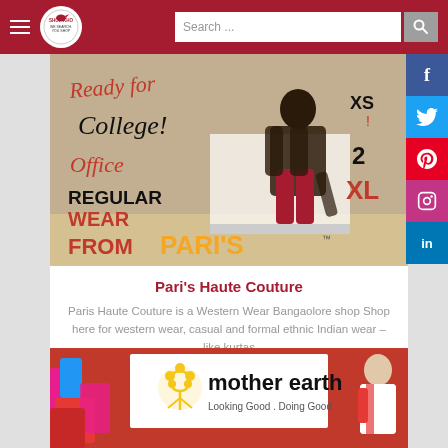Shop Kho - Search bar header with logo and navigation
[Figure (photo): Pari's Haute Couture promotional banner showing a woman in ethnic wear with text: Ready for College! Office, REGULAR WEAR, FROM PARI'S. XS, 2XL size labels visible.]
Pari's Haute Couture
Paris Haute Couture is a Western Wear Bangaolore shop Shop here for western wear, casual and formal ethnic Indian wear – like kurtas
[Figure (photo): Mother Earth brand banner with logo (yellow flower/tree), tagline 'Looking Good . Doing Good', woman in ethnic wear on right, colorful bags on left, red background.]